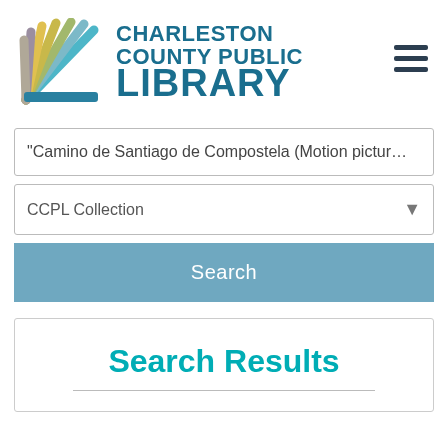[Figure (logo): Charleston County Public Library logo with colorful fan/book pages icon and text]
"Camino de Santiago de Compostela (Motion picture
CCPL Collection
Search
Search Results